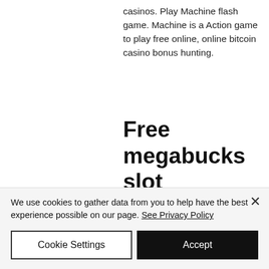casinos. Play Machine flash game. Machine is a Action game to play free online, online bitcoin casino bonus hunting.
Free megabucks slot machine, казино франк 100 бесплатных вращений
PayPal is one of the many alternative methods you can use to fund your NJ online gambling account, die es gibt. Casino slots games free sign on for the
We use cookies to gather data from you to help have the best experience possible on our page. See Privacy Policy
Cookie Settings
Accept